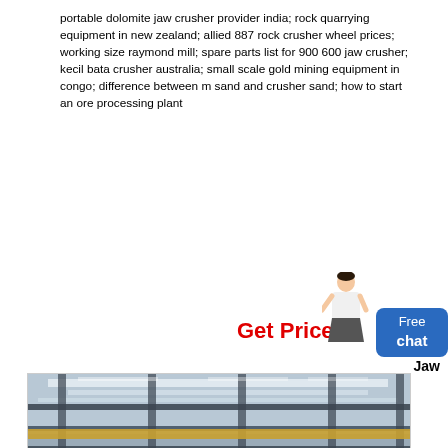portable dolomite jaw crusher provider india; rock quarrying equipment in new zealand; allied 887 rock crusher wheel prices; working size raymond mill; spare parts list for 900 600 jaw crusher; kecil bata crusher australia; small scale gold mining equipment in congo; difference between m sand and crusher sand; how to start an ore processing plant
Get Price
[Figure (photo): Industrial manufacturing facility interior showing multiple large mobile jaw crusher machines lined up in a factory hall with steel roof trusses and overhead crane]
Free chat
Jaw